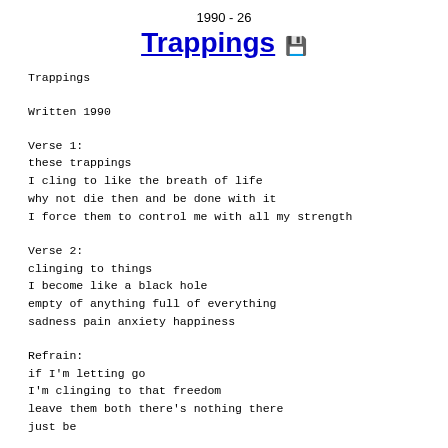1990 - 26
Trappings
Trappings

Written 1990

Verse 1:
these trappings
I cling to like the breath of life
why not die then and be done with it
I force them to control me with all my strength

Verse 2:
clinging to things
I become like a black hole
empty of anything full of everything
sadness pain anxiety happiness

Refrain:
if I'm letting go
I'm clinging to that freedom
leave them both there's nothing there
just be


Verse 3: